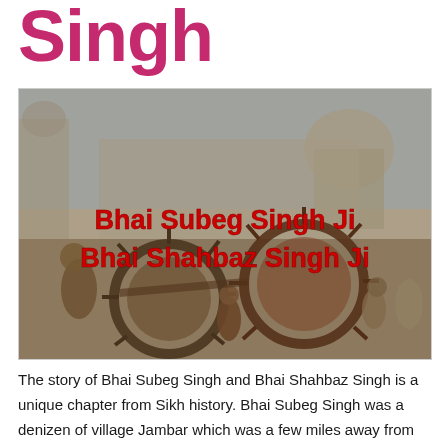Singh
[Figure (illustration): Historical painting depicting men being crushed by large spiked wheels in front of a Mughal-era fort/mosque, with text overlay 'Bhai Subeg Singh Ji / Bhai Shahbaz Singh Ji' in bold red.]
The story of Bhai Subeg Singh and Bhai Shahbaz Singh is a unique chapter from Sikh history. Bhai Subeg Singh was a denizen of village Jambar which was a few miles away from